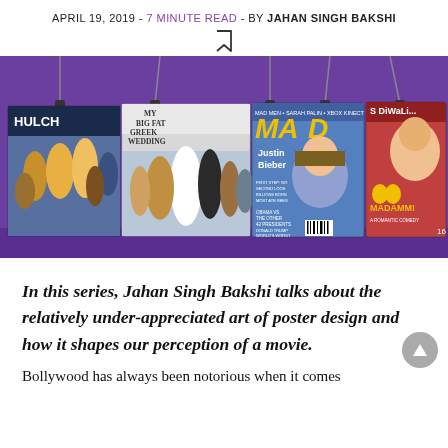APRIL 19, 2019 - 7 MINUTE READ - BY JAHAN SINGH BAKSHI
[Figure (photo): A collection of movie and magazine posters displayed hanging from clips against a purple background. Posters include: Hulchul (Bollywood film), My Big Fat Greek Wedding, MAD Magazine featuring Justin Bieber, and Madamm! (Bollywood film with Diwali theme).]
In this series, Jahan Singh Bakshi talks about the relatively under-appreciated art of poster design and how it shapes our perception of a movie.
Bollywood has always been notorious when it comes